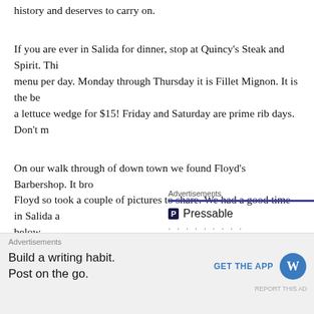history and deserves to carry on.
If you are ever in Salida for dinner, stop at Quincy’s Steak and Spirit. Thi… menu per day. Monday through Thursday it is Fillet Mignon. It is the be… a lettuce wedge for $15! Friday and Saturday are prime rib days. Don’t m…
On our walk through of down town we found Floyd’s Barbershop. It bro… Floyd so took a couple of pictures to share. We had a good time in Salida… below.
[Figure (other): Advertisement for Pressable showing the Pressable logo and 'The Platform' text with dotted separator]
[Figure (other): Bottom advertisement bar with 'Build a writing habit. Post on the go.' and GET THE APP button with WordPress logo, plus REPORT THIS AD link]